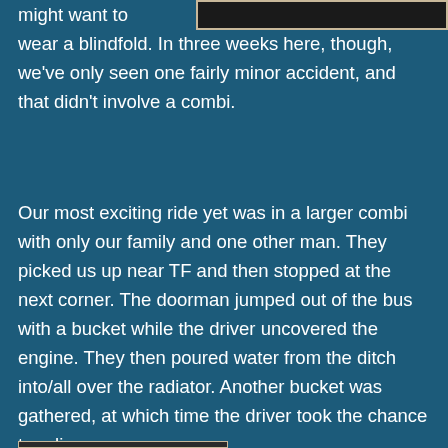[Figure (photo): Partial photo visible at top right of page, showing a dark image with a tan/beige border]
might want to wear a blindfold. In three weeks here, though, we've only seen one fairly minor accident, and that didn't involve a combi.
Our most exciting ride yet was in a larger combi with only our family and one other man. They picked us up near TF and then stopped at the next corner. The doorman jumped out of the bus with a bucket while the driver uncovered the engine. They then poured water from the ditch into/all over the radiator. Another bucket was gathered, at which time the driver took the chance to relieve